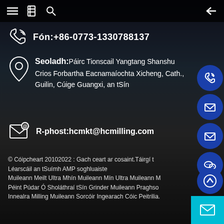navigation bar with menu, book, search, and back icons
Fón:+86-0773-1330788137
Seoladh:Páirc Tionscail Yangtang Shanshu Crios Forbartha Eacnamaíochta Xicheng, Cath., Guilin, Cúige Guangxi, an tSín
R-phost:hcmkt@hcmilling.com
© Cóipcheart 20102022 : Gach ceart ar cosaint.Táirgí t Léarscáil an tSuímh AMP soghluaiste Muileann Meilt Ultra Mhín Muileann Mín Ultra Muileann M Péint Púdar Ó Sholáthraí tSín Grinder Muileann Praghso Innealra Milling Muileann Sorcóir Ingearach Cóic Peitrilia.